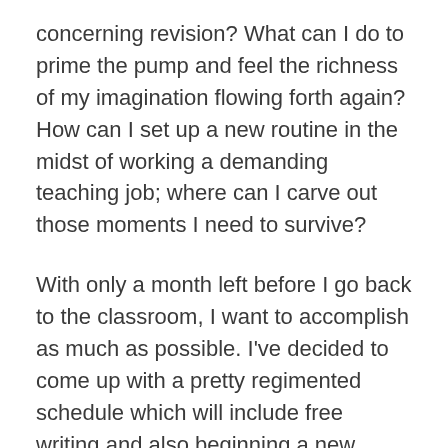concerning revision? What can I do to prime the pump and feel the richness of my imagination flowing forth again? How can I set up a new routine in the midst of working a demanding teaching job; where can I carve out those moments I need to survive?
With only a month left before I go back to the classroom, I want to accomplish as much as possible. I've decided to come up with a pretty regimented schedule which will include free writing and also beginning a new project. Revision is rewarding. I can finally see the whole picture and understand what must be changed and moved and tweaked and refined, but spilling a first draft onto the page is different. I miss